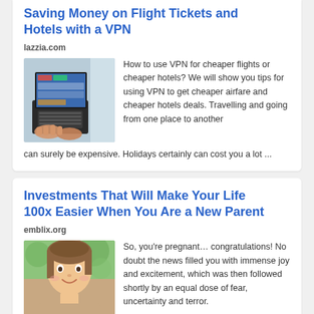Saving Money on Flight Tickets and Hotels with a VPN
lazzia.com
[Figure (photo): Person using a laptop with travel/flight booking websites on screen, sitting by a window]
How to use VPN for cheaper flights or cheaper hotels? We will show you tips for using VPN to get cheaper airfare and cheaper hotels deals. Travelling and going from one place to another can surely be expensive. Holidays certainly can cost you a lot ...
Investments That Will Make Your Life 100x Easier When You Are a New Parent
emblix.org
[Figure (photo): Young woman smiling, photographed outdoors with greenery in the background]
So, you're pregnant… congratulations! No doubt the news filled you with immense joy and excitement, which was then followed shortly by an equal dose of fear, uncertainty and terror.